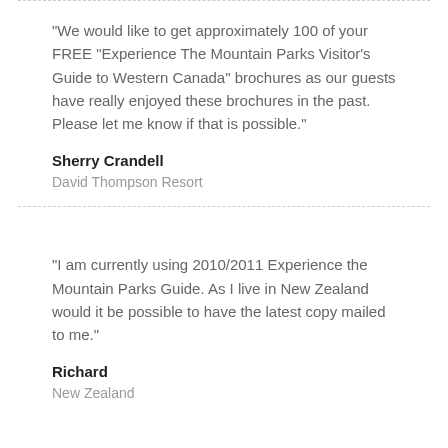“We would like to get approximately 100 of your FREE “Experience The Mountain Parks Visitor’s Guide to Western Canada” brochures as our guests have really enjoyed these brochures in the past. Please let me know if that is possible.”
Sherry Crandell
David Thompson Resort
“I am currently using 2010/2011 Experience the Mountain Parks Guide. As I live in New Zealand would it be possible to have the latest copy mailed to me.”
Richard
New Zealand